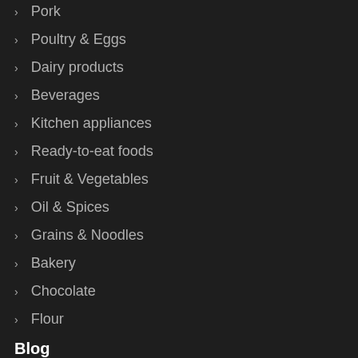Pork
Poultry & Eggs
Dairy products
Beverages
Kitchen appliances
Ready-to-eat foods
Fruit & Vegetables
Oil & Spices
Grains & Noodles
Bakery
Chocolate
Flour
Blog
Brand stories
Handbook